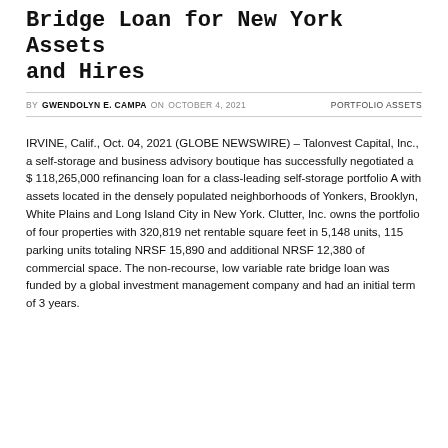Bridge Loan for New York Assets and Hires
BY GWENDOLYN E. CAMPA ON OCTOBER 4, 2021    PORTFOLIO ASSETS
IRVINE, Calif., Oct. 04, 2021 (GLOBE NEWSWIRE) – Talonvest Capital, Inc., a self-storage and business advisory boutique has successfully negotiated a $ 118,265,000 refinancing loan for a class-leading self-storage portfolio A with assets located in the densely populated neighborhoods of Yonkers, Brooklyn, White Plains and Long Island City in New York. Clutter, Inc. owns the portfolio of four properties with 320,819 net rentable square feet in 5,148 units, 115 parking units totaling NRSF 15,890 and additional NRSF 12,380 of commercial space. The non-recourse, low variable rate bridge loan was funded by a global investment management company and had an initial term of 3 years.